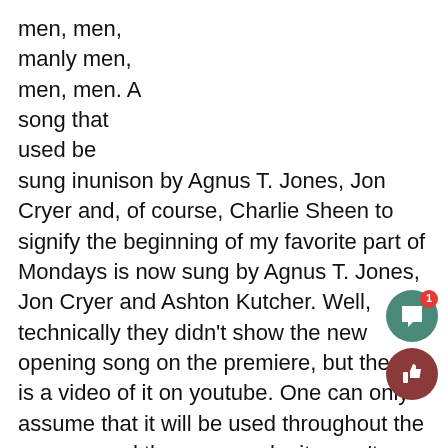men, men,
manly men,
men, men. A
song that
used be
ung inunison by Agnus T. Jones, Jon Cryer and, of course, Charlie Sheen to signify the beginning of my favorite part of Mondays is now sung by Agnus T. Jones, Jon Cryer and Ashton Kutcher. Well, technically they didn't show the new opening song on the premiere, but there is a video of it on youtube. One can only assume that it will be used throughout the season, and the reason why it wasn't used in the first episode was so the funeral march would be used.
On Sept. 19 “all was revealed” when the season premiere of “Two and a Half Men” aired sans Charlie Sheen. This premiere broke the show’s record with the highest ratings of 27.5 million viewers according to...